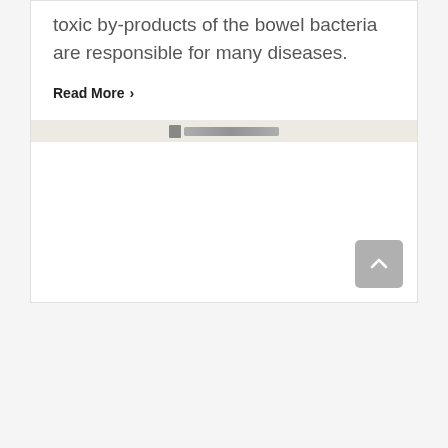toxic by-products of the bowel bacteria are responsible for many diseases.
Read More ›
[Figure (other): A horizontal divider bar with a blurred/redacted image element centered within it, on a beige/tan background strip.]